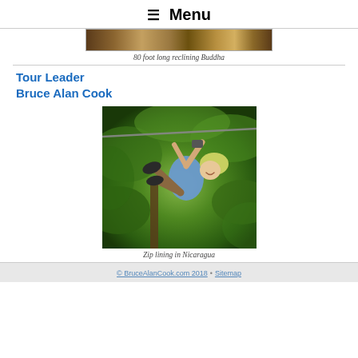☰ Menu
[Figure (photo): Partial view of an 80 foot long reclining Buddha statue]
80 foot long reclining Buddha
Tour Leader
Bruce Alan Cook
[Figure (photo): Person zip lining through a lush green jungle in Nicaragua, wearing a helmet and harness]
Zip lining in Nicaragua
© BruceAlanCook.com 2018 • Sitemap